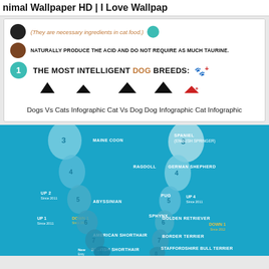Animal Wallpaper HD | I Love Wallpap...
[Figure (infographic): Dogs vs Cats infographic snippet showing cat/dog food ingredients info and 'The Most Intelligent Dog Breeds' heading with dog silhouettes]
Dogs Vs Cats Infographic Cat Vs Dog Dog Infographic Cat Infographic
[Figure (infographic): Blue background infographic showing most popular cat and dog breeds ranked 3-8, with breed names like Maine Coon, Ragdoll, Abyssinian, Sphynx, American Shorthair, British Shorthair on cat side and Spaniel English Springer, German Shepherd, Pug, Golden Retriever, Border Terrier, Staffordshire Bull Terrier on dog side, with silhouettes and ranking changes indicated]